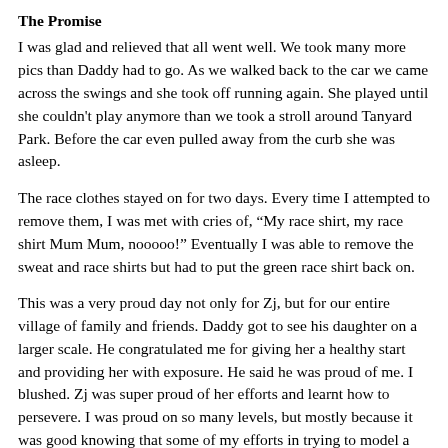The Promise
I was glad and relieved that all went well. We took many more pics than Daddy had to go.  As we walked back to the car we came across the swings and she took off running again.  She played until she couldn't play anymore than we took a stroll around Tanyard Park.  Before the car even pulled away from the curb she was asleep.
The race clothes stayed on for two days.  Every time I attempted to remove them, I was met with cries of, “My race shirt, my race shirt Mum Mum, nooooo!” Eventually I was able to remove the sweat and race shirts but had to put the green race shirt back on.
This was a very proud day not only for Zj, but for our entire village of family and friends. Daddy got to see his daughter on a larger scale. He congratulated me for giving her a healthy start and providing her with exposure.  He said he was proud of me.  I blushed.  Zj was super proud of her efforts and learnt how to persevere.  I was proud on so many levels, but mostly because it was good knowing that some of my efforts in trying to model a